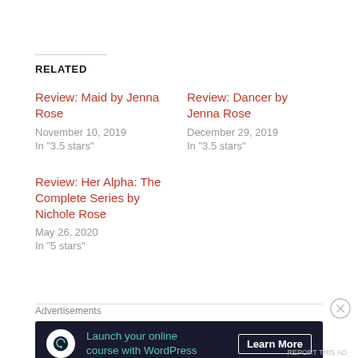RELATED
Review: Maid by Jenna Rose
November 10, 2019
In "3.5 stars"
Review: Dancer by Jenna Rose
December 29, 2019
In "3.5 stars"
Review: Her Alpha: The Complete Series by Nichole Rose
May 26, 2020
In "5 stars"
Advertisements
[Figure (screenshot): Advertisement banner: dark background with icon, text 'Launch your online course with WordPress' in teal, and 'Learn More' button in white]